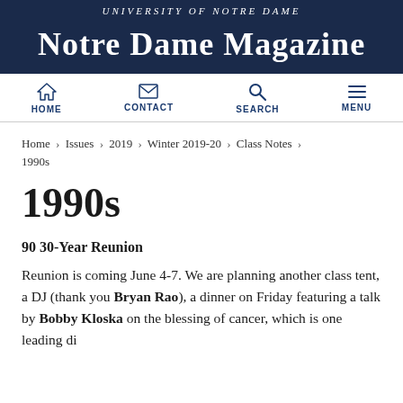UNIVERSITY of NOTRE DAME
Notre Dame Magazine
HOME  CONTACT  SEARCH  MENU
Home › Issues › 2019 › Winter 2019-20 › Class Notes › 1990s
1990s
90 30-Year Reunion
Reunion is coming June 4-7. We are planning another class tent, a DJ (thank you Bryan Rao), a dinner on Friday featuring a talk by Bobby Kloska on the blessing of cancer, which is one leading di...